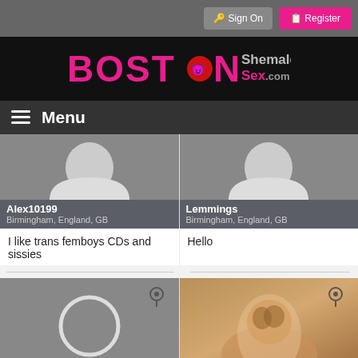Sign On | Register
[Figure (logo): BOSTON ShemalesSex.com logo in pink and grey on black background]
≡ Menu
[Figure (photo): Profile card: Alex10199, Birmingham, England, GB - grey avatar silhouette placeholder]
I like trans femboys CDs and sissies
[Figure (photo): Profile card: Lemmings, Birmingham, England, GB - grey avatar silhouette placeholder]
Hello
[Figure (photo): Bottom card: grey placeholder with circle avatar and location pin]
[Figure (photo): Bottom card: photo of blonde woman with location pin]